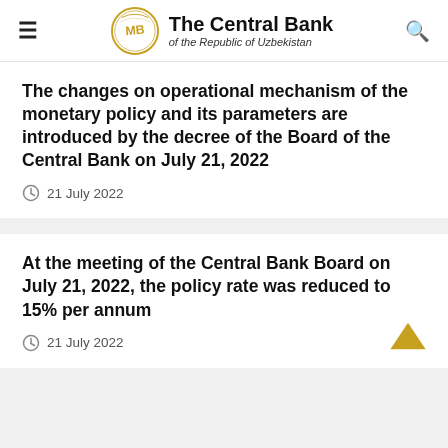The Central Bank of the Republic of Uzbekistan
The changes on operational mechanism of the monetary policy and its parameters are introduced by the decree of the Board of the Central Bank on July 21, 2022
21 July 2022
At the meeting of the Central Bank Board on July 21, 2022, the policy rate was reduced to 15% per annum
21 July 2022